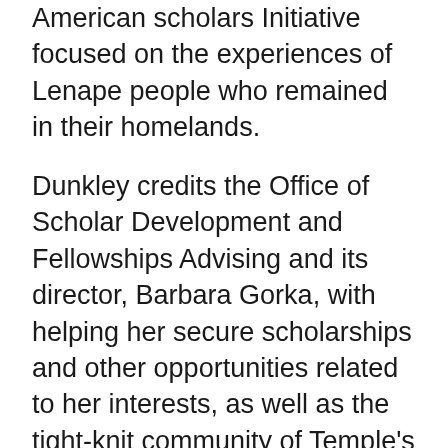American scholars Initiative focused on the experiences of Lenape people who remained in their homelands.
Dunkley credits the Office of Scholar Development and Fellowships Advising and its director, Barbara Gorka, with helping her secure scholarships and other opportunities related to her interests, as well as the tight-knit community of Temple's Honors Program, for supporting her in becoming a voice for her tribal community.
In the fall, Dunkley will head to the University of Minnesota to pursue her PhD in American studies, focusing her research on Native American history